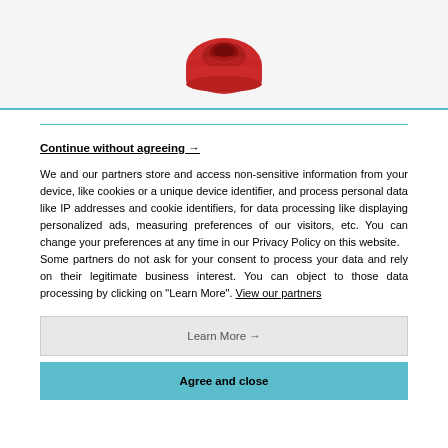[Figure (photo): Partial view of a red cap/ring-shaped object against a light background, cropped at the top of the page]
Continue without agreeing →
We and our partners store and access non-sensitive information from your device, like cookies or a unique device identifier, and process personal data like IP addresses and cookie identifiers, for data processing like displaying personalized ads, measuring preferences of our visitors, etc. You can change your preferences at any time in our Privacy Policy on this website.
Some partners do not ask for your consent to process your data and rely on their legitimate business interest. You can object to those data processing by clicking on "Learn More". View our partners
Learn More →
Agree and close